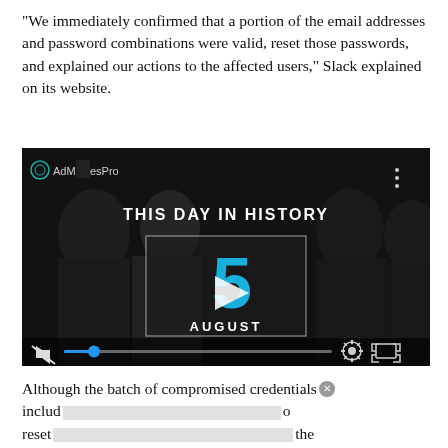“We immediately confirmed that a portion of the email addresses and password combinations were valid, reset those passwords, and explained our actions to the affected users,” Slack explained on its website.
[Figure (screenshot): Embedded video player showing 'THIS DAY IN HISTORY' with a play button overlay, date showing '5 AUGUST', AdMo...esPro watermark, mute icon, progress bar with blue dot, settings gear icon, and fullscreen icon at the bottom.]
Although the batch of compromised credentials includ                                               reset                                                        the time c